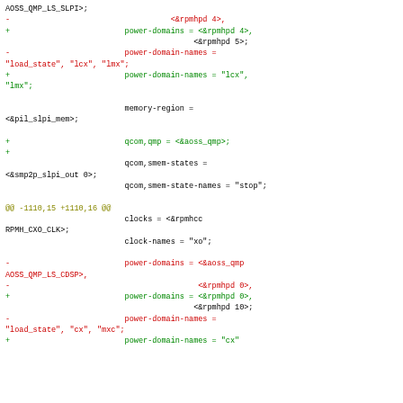Code diff showing device tree patch with power-domain and memory-region changes for SLPI and CDSP subsystems